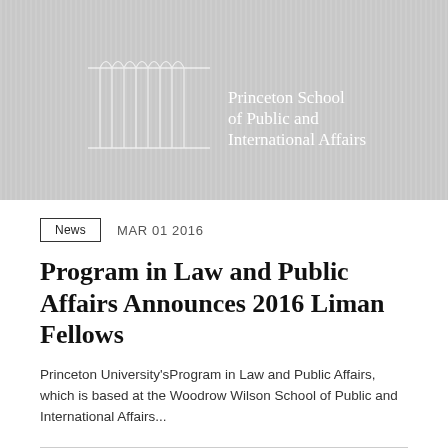[Figure (logo): Princeton School of Public and International Affairs logo banner — grey background with vertical stripe watermark pattern, architectural column illustration in white, and school name text in white serif font]
News   MAR 01 2016
Program in Law and Public Affairs Announces 2016 Liman Fellows
Princeton University'sProgram in Law and Public Affairs, which is based at the Woodrow Wilson School of Public and International Affairs...